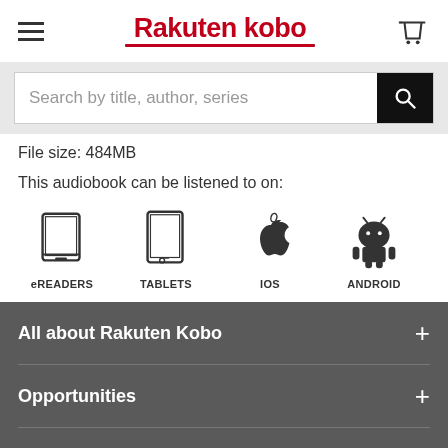Rakuten kobo
Search by title, author, series
File size: 484MB
This audiobook can be listened to on:
[Figure (infographic): Four device icons: eREADERS (e-reader device), TABLETS (tablet device), IOS (Apple logo), ANDROID (Android robot logo)]
All about Rakuten Kobo
Opportunities
Latest Blog Posts